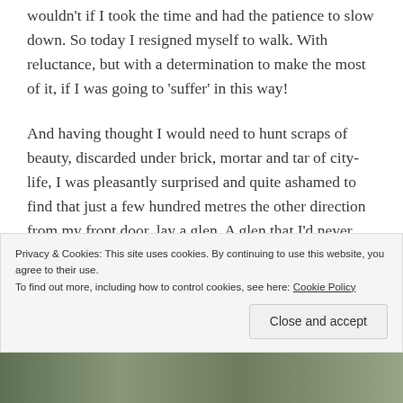wouldn't if I took the time and had the patience to slow down. So today I resigned myself to walk. With reluctance, but with a determination to make the most of it, if I was going to 'suffer' in this way!
And having thought I would need to hunt scraps of beauty, discarded under brick, mortar and tar of city-life, I was pleasantly surprised and quite ashamed to find that just a few hundred metres the other direction from my front door, lay a glen. A glen that I'd never been in before. And albeit a glen that was between two rough housing estates, nevertheless the green of a marvelous
Privacy & Cookies: This site uses cookies. By continuing to use this website, you agree to their use.
To find out more, including how to control cookies, see here: Cookie Policy
Close and accept
[Figure (photo): Bottom strip showing a partial outdoor/garden photograph]